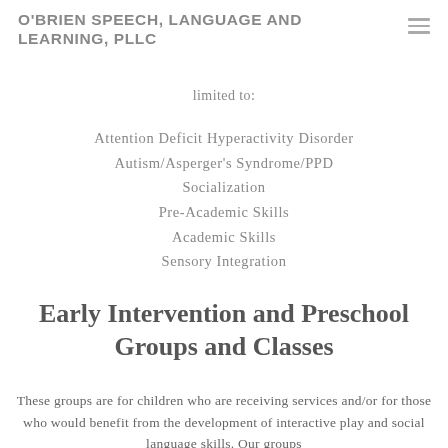O'BRIEN SPEECH, LANGUAGE AND LEARNING, PLLC
limited to:
Attention Deficit Hyperactivity Disorder
Autism/Asperger's Syndrome/PPD
Socialization
Pre-Academic Skills
Academic Skills
Sensory Integration
Early Intervention and Preschool Groups and Classes
These groups are for children who are receiving services and/or for those who would benefit from the development of interactive play and social language skills. Our groups